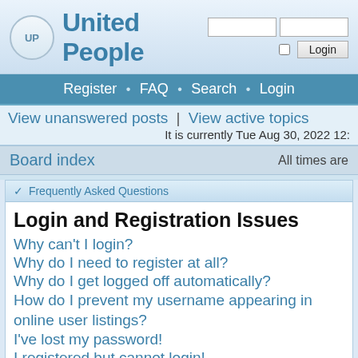United People
Register • FAQ • Search • Login
View unanswered posts | View active topics
It is currently Tue Aug 30, 2022 12:
Board index   All times are
✓ Frequently Asked Questions
Login and Registration Issues
Why can't I login?
Why do I need to register at all?
Why do I get logged off automatically?
How do I prevent my username appearing in online user listings?
I've lost my password!
I registered but cannot login!